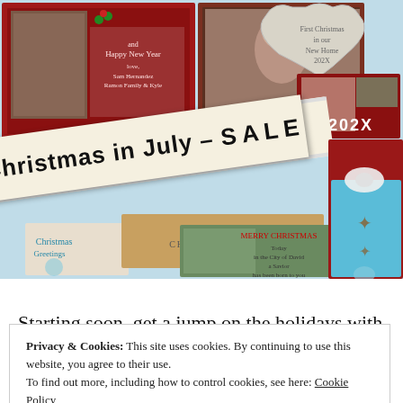[Figure (photo): Christmas in July Sale collage: holiday cards, wrapped gifts with starfish and shell decorations, ornament photo cards, a diagonal banner reading 'Christmas in July - SALE']
Starting soon, get a jump on the holidays with sales in July.
Privacy & Cookies: This site uses cookies. By continuing to use this website, you agree to their use. To find out more, including how to control cookies, see here: Cookie Policy
Close and accept